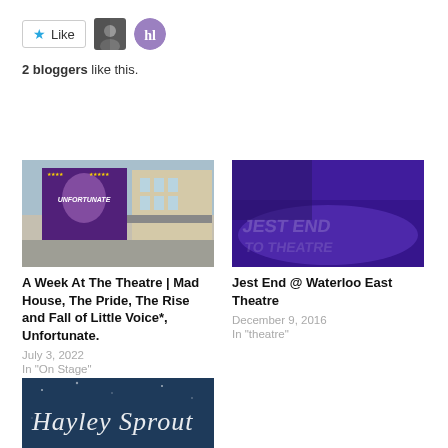[Figure (screenshot): Like button with blue star icon and two blogger avatars]
2 bloggers like this.
[Figure (photo): Theatre poster for 'Unfortunate' show on a street]
A Week At The Theatre | Mad House, The Pride, The Rise and Fall of Little Voice*, Unfortunate.
July 3, 2022
In "On Stage"
[Figure (photo): Stage lit in purple/blue light at Waterloo East Theatre]
Jest End @ Waterloo East Theatre
December 9, 2016
In "theatre"
[Figure (photo): Dark blue card with white script text reading Hayley Sprout]